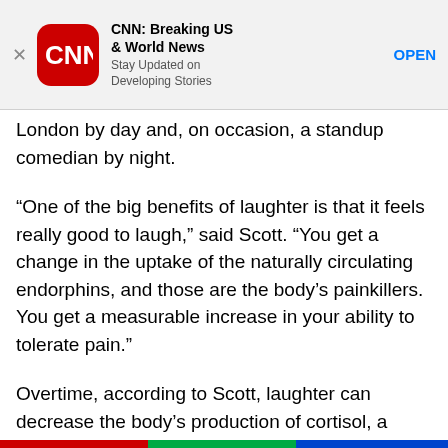[Figure (screenshot): CNN app advertisement banner with red rounded-square logo showing 'CNN' in white text, app title 'CNN: Breaking US & World News', subtitle 'Stay Updated on Developing Stories', and blue 'OPEN' button. An X close button is on the left.]
London by day and, on occasion, a standup comedian by night.
“One of the big benefits of laughter is that it feels really good to laugh,” said Scott. “You get a change in the uptake of the naturally circulating endorphins, and those are the body’s painkillers. You get a measurable increase in your ability to tolerate pain.”
Overtime, according to Scott, laughter can decrease the body’s production of cortisol, a hormone released by the adrenal glands into the bloodstream at times of stress. High levels of cortisol have been linked to weight gain and memory loss.